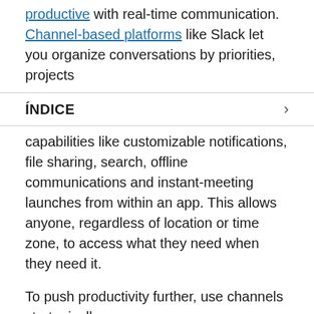productive with real-time communication. Channel-based platforms like Slack let you organize conversations by priorities, projects
ÍNDICE
capabilities like customizable notifications, file sharing, search, offline communications and instant-meeting launches from within an app. This allows anyone, regardless of location or time zone, to access what they need when they need it.
To push productivity further, use channels strategically:
Use #announcements to update teams on key company news.
Make internal content interesting. Use